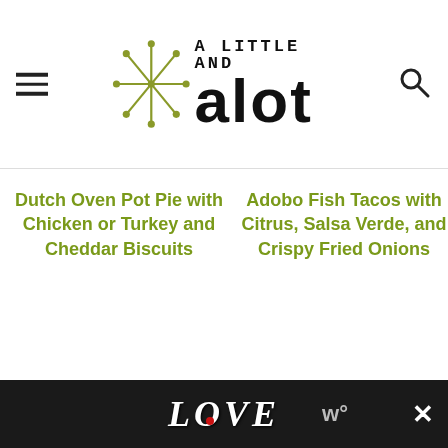A Little and Alot — blog header with logo, hamburger menu, and search icon
Dutch Oven Pot Pie with Chicken or Turkey and Cheddar Biscuits
Adobo Fish Tacos with Citrus, Salsa Verde, and Crispy Fried Onions
[Figure (photo): Close-up photo of a dish with chicken or turkey pot pie filling, biscuit topping, with vegetables and dark beans visible, on a dark plate with greenery in background]
[Figure (photo): Close-up photo of a dish on dark background, appears to be fish tacos or a cheesy dish with herbs, with a heart/save icon and magnify icon overlay]
[Figure (photo): Advertisement banner at bottom of page with decorative 'LOVE' text in ornate lettering with a red heart dot, close button (X) on the right, and 'w°' text]